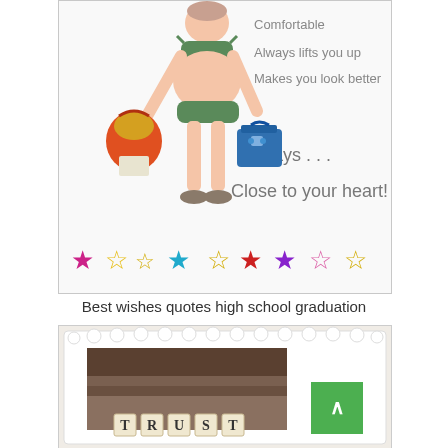[Figure (illustration): Cartoon illustration of a plus-size woman in a bikini carrying bags, with text: Comfortable, Always lifts you up, Makes you look better, Always..., Close to your heart! Colorful stars along the bottom.]
Best wishes quotes high school graduation
[Figure (photo): Photo of a white decorative frame with Scrabble-like tiles spelling TRUST on a rocky/earthy background. Green scroll-to-top button overlaid at bottom right.]